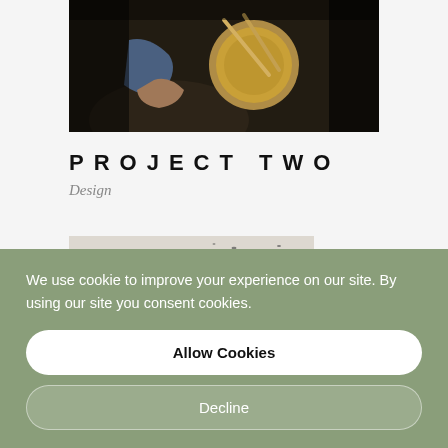[Figure (photo): A person playing a banjo or drum instrument, dark moody background, close-up shot.]
PROJECT TWO
Design
[Figure (photo): A desert sand dune landscape with birds flying against a pale sky.]
We use cookie to improve your experience on our site. By using our site you consent cookies.
Allow Cookies
Decline